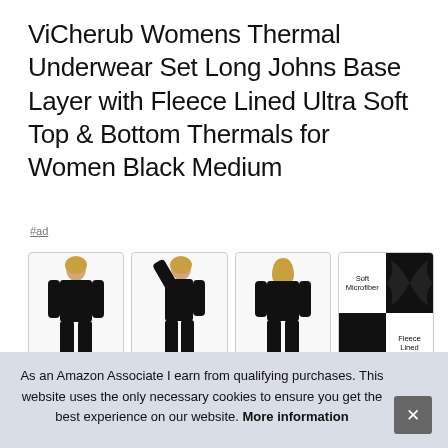ViCherub Womens Thermal Underwear Set Long Johns Base Layer with Fleece Lined Ultra Soft Top & Bottom Thermals for Women Black Medium
#ad
[Figure (photo): Four product images: three showing a woman wearing a black thermal underwear set (front, side, back views), and one showing fabric swatches labeled 'Soft Microfiber' and 'Fleece Lined']
ViC... long... wais...
As an Amazon Associate I earn from qualifying purchases. This website uses the only necessary cookies to ensure you get the best experience on our website. More information